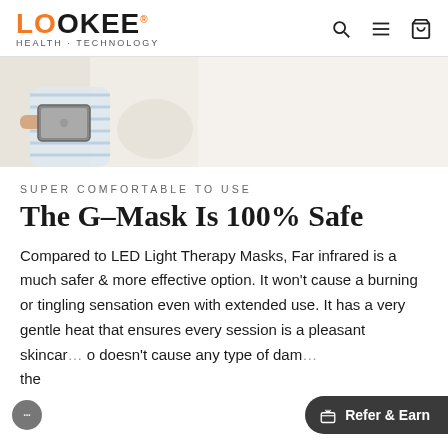LOOKEE HEALTH - TECHNOLOGY
[Figure (photo): Person in striped pajamas sitting on a couch holding a tablet, light background]
SUPER COMFORTABLE TO USE
The G-Mask Is 100% Safe
Compared to LED Light Therapy Masks, Far infrared is a much safer & more effective option. It won't cause a burning or tingling sensation even with extended use. It has a very gentle heat that ensures every session is a pleasant skincar... o doesn't cause any type of dam... the